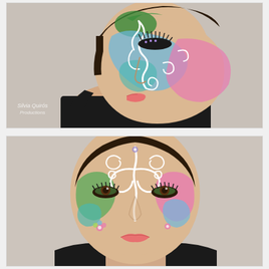[Figure (photo): Side profile view of a woman with elaborate colorful face paint / face painting design on the right side of her face. The design features swirling white curvilinear patterns, pink, blue, green, and teal colors forming a butterfly or floral motif. She has dramatic black eyelashes and wears a black top. Watermark reads 'Silvia Quirós Productions'.]
[Figure (photo): Front-facing view of the same woman showing the full face paint design from a front angle. Colorful butterfly/floral face paint with white swirling patterns, pink on the right side, green and blue on the left side, small flower details on nose and cheek. Green eye makeup. Black top.]